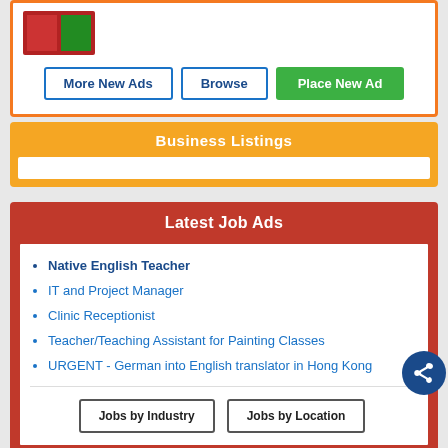[Figure (screenshot): Top orange-bordered box with photo thumbnails and buttons: More New Ads, Browse, Place New Ad]
More New Ads
Browse
Place New Ad
Business Listings
Latest Job Ads
Native English Teacher
IT and Project Manager
Clinic Receptionist
Teacher/Teaching Assistant for Painting Classes
URGENT - German into English translator in Hong Kong
Jobs by Industry
Jobs by Location